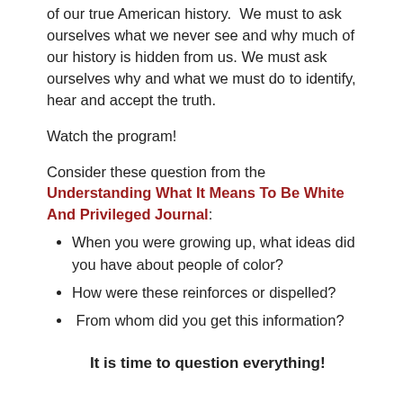of our true American history.  We must to ask ourselves what we never see and why much of our history is hidden from us. We must ask ourselves why and what we must do to identify, hear and accept the truth.
Watch the program!
Consider these question from the Understanding What It Means To Be White And Privileged Journal:
When you were growing up, what ideas did you have about people of color?
How were these reinforces or dispelled?
From whom did you get this information?
It is time to question everything!